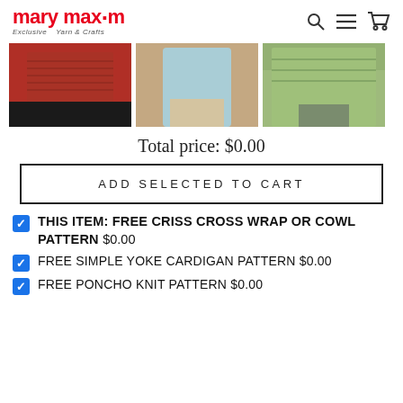mary maxim — Exclusive Yarn & Crafts
[Figure (photo): Three product photos: red knit top with black pants, blue/grey simple yoke cardigan, green poncho knit wrap]
Total price: $0.00
ADD SELECTED TO CART
THIS ITEM: FREE CRISS CROSS WRAP OR COWL PATTERN $0.00
FREE SIMPLE YOKE CARDIGAN PATTERN $0.00
FREE PONCHO KNIT PATTERN $0.00